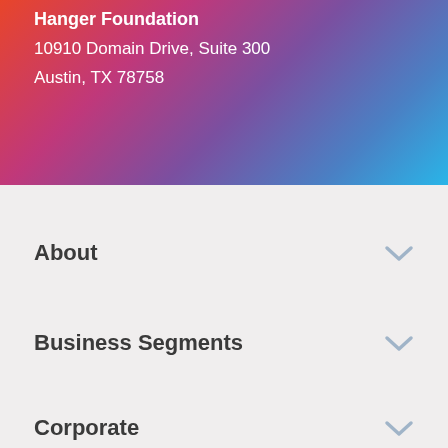Hanger Foundation
10910 Domain Drive, Suite 300
Austin, TX 78758
About
Business Segments
Corporate